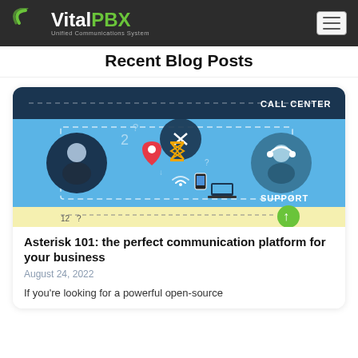VitalPBX Unified Communications System
Recent Blog Posts
[Figure (illustration): Call center support infographic showing two circular icons of a person and a headset agent connected by various communication and technology icons on a blue and yellow background. Text labels: CALL CENTER, SUPPORT.]
Asterisk 101: the perfect communication platform for your business
August 24, 2022
If you're looking for a powerful open-source communication platform for your business